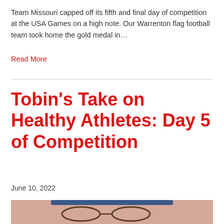Team Missouri capped off its fifth and final day of competition at the USA Games on a high note. Our Warrenton flag football team took home the gold medal in…
Read More
Tobin's Take on Healthy Athletes: Day 5 of Competition
June 10, 2022
[Figure (photo): Close-up photo of a person wearing glasses and a blue hat, with a pink/salmon colored background]